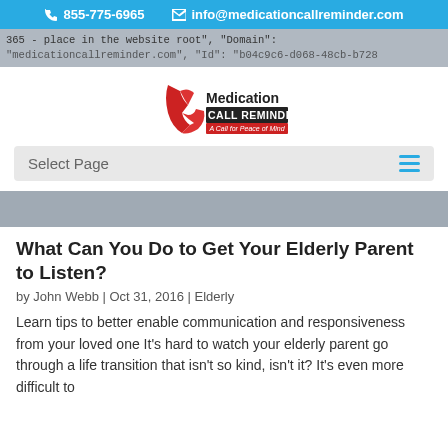855-775-6965   info@medicationcallreminder.com
365 - place in the website root", "Domain":
"medicationcallreminder.com", "Id": "b04c9c6-d068-48cb-b728
[Figure (logo): Medication Call Reminder logo with red phone handset graphic and company name]
Select Page
What Can You Do to Get Your Elderly Parent to Listen?
by John Webb | Oct 31, 2016 | Elderly
Learn tips to better enable communication and responsiveness from your loved one It's hard to watch your elderly parent go through a life transition that isn't so kind, isn't it? It's even more difficult to